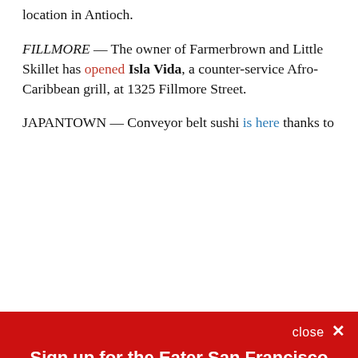location in Antioch.
FILLMORE — The owner of Farmerbrown and Little Skillet has opened Isla Vida, a counter-service Afro-Caribbean grill, at 1325 Fillmore Street.
JAPANTOWN — Conveyor belt sushi is here thanks to
Sign up for the Eater San Francisco newsletter
The freshest news from the local food world
Email (required)
SUBSCRIBE
By submitting your email, you agree to our Terms and Privacy Notice. You can opt out at any time. This site is protected by reCAPTCHA and the Google Privacy Policy and Terms of Service apply.